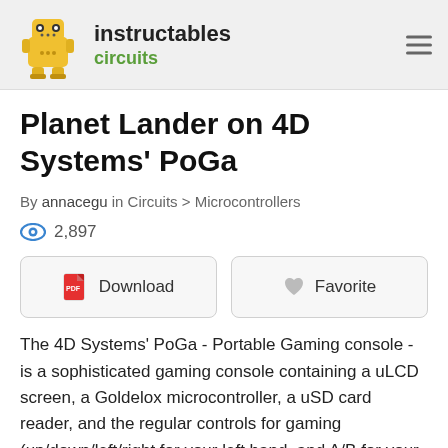instructables circuits
Planet Lander on 4D Systems' PoGa
By annacegu in Circuits > Microcontrollers
2,897
Download   Favorite
The 4D Systems' PoGa - Portable Gaming console - is a sophisticated gaming console containing a uLCD screen, a Goldelox microcontroller, a uSD card reader, and the regular controls for gaming (up/down/left/right for your left hand, and A/B for your right). Check out http://www.poga.com.au for